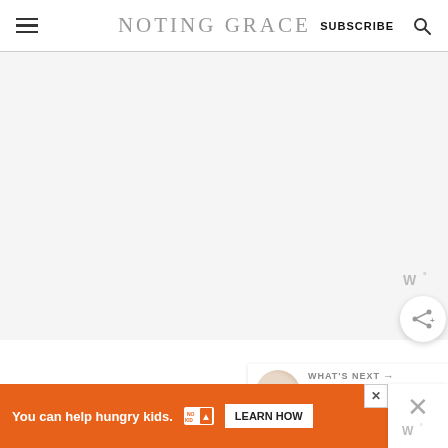NOTING GRACE  SUBSCRIBE
[Figure (screenshot): Large light gray blank content area below the site header]
[Figure (infographic): Floating share/widget button panel on the right side with W° icon and share icon circle button]
[Figure (infographic): WHAT'S NEXT panel with thumbnail image and text: How we Changed ou...]
[Figure (infographic): Orange advertisement banner: You can help hungry kids. NO KID HUNGRY LEARN HOW, with close X button]
[Figure (infographic): White side overlay with large X close button and W° widget icon]